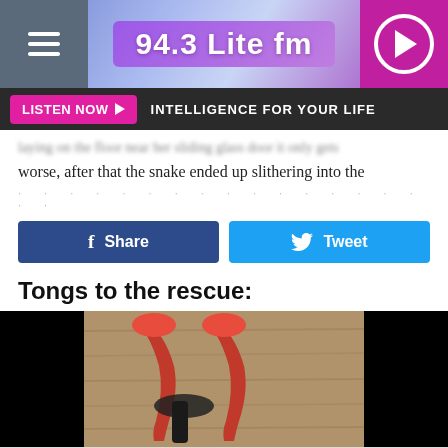94.3 Lite fm
LISTEN NOW  INTELLIGENCE FOR YOUR LIFE
laying on the floor near her sliding glass door it only gets worse, after that the snake ended up slithering into the
[Figure (screenshot): Share and Tweet social media buttons - Facebook Share button (blue) and Twitter Tweet button (light blue)]
Tongs to the rescue:
[Figure (photo): Red kitchen tongs on a wooden surface, with black handles, photographed from above against a dark background on the sides]
CoinFlip: So Flippin' Easy
CoinFlip Bitcoin ATM